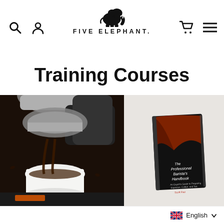[Figure (logo): Five Elephant logo with elephant silhouette above text FIVE ELEPHANT.]
Training Courses
[Figure (photo): Close-up photo of espresso machine portafilter pouring espresso into a white cup on a scale, dark background]
[Figure (photo): Photo of The Professional Barista's Handbook book cover showing coffee liquid, on light grey background]
English